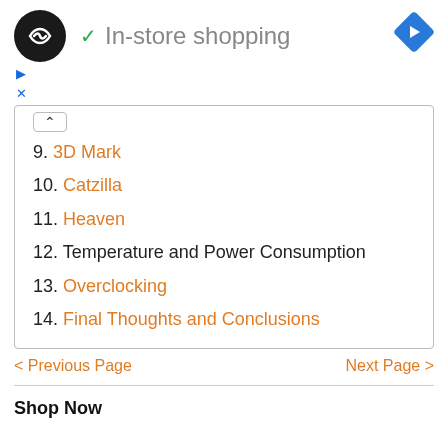In-store shopping
9. 3D Mark
10. Catzilla
11. Heaven
12. Temperature and Power Consumption
13. Overclocking
14. Final Thoughts and Conclusions
< Previous Page
Next Page >
Shop Now